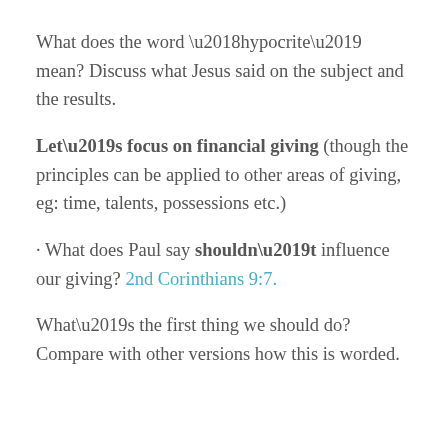What does the word ‘hypocrite’ mean? Discuss what Jesus said on the subject and the results.
Let’s focus on financial giving (though the principles can be applied to other areas of giving, eg: time, talents, possessions etc.)
· What does Paul say shouldn’t influence our giving? 2nd Corinthians 9:7.
What’s the first thing we should do? Compare with other versions how this is worded.